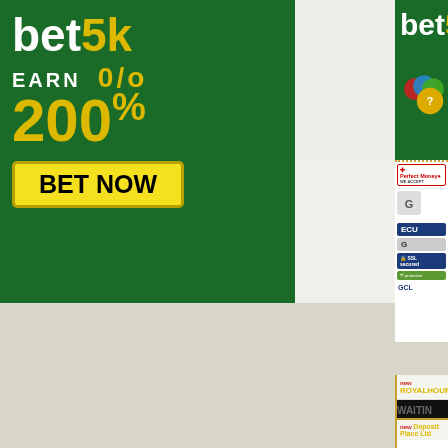[Figure (screenshot): bet5k advertisement banner (green background) with text 'bet5k EARN 200% BET NOW' in white and yellow]
[Figure (screenshot): Partial view of right column showing cropped bet5k banner and payment icons (Perfect Money, ECU, SSL secured, GCL)]
[Figure (screenshot): Partial card for ROYALHOURMINER.C showing WAITING status, rates: 1.05% eve, hours 1.4, 2.2, 4.7, 50%, Min/Max: $1, Referral: 2%, Withdrawal, AHM link, payment icons]
[Figure (screenshot): Partial card beginning for 'new Deposit Place Ltd']